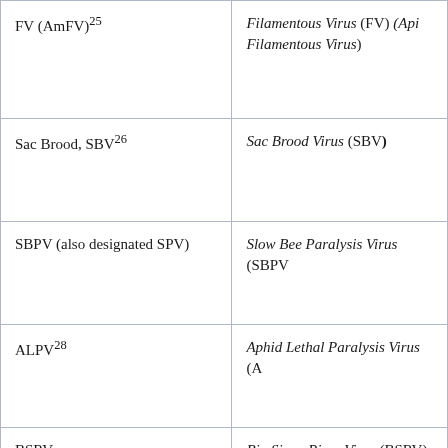| Abbreviation | Full Name |
| --- | --- |
| FV (AmFV)25 | Filamentous Virus (FV) (Api Filamentous Virus) |
| Sac Brood, SBV26 | Sac Brood Virus (SBV) |
| SBPV (also designated SPV) | Slow Bee Paralysis Virus (SBPV) |
| ALPV28 | Aphid Lethal Paralysis Virus (A…) |
| BSRV | Big Sioux River Virus (BSRV) |
| BBV29 | Berkeley Bee Virus (BBV) |